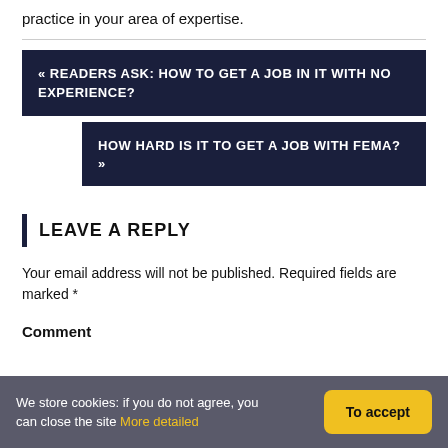practice in your area of expertise.
« READERS ASK: HOW TO GET A JOB IN IT WITH NO EXPERIENCE?
HOW HARD IS IT TO GET A JOB WITH FEMA? »
LEAVE A REPLY
Your email address will not be published. Required fields are marked *
Comment
We store cookies: if you do not agree, you can close the site More detailed